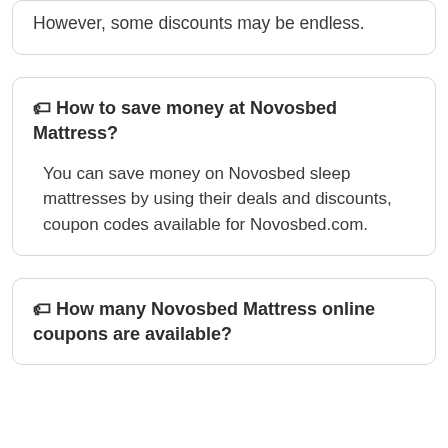However, some discounts may be endless.
🏷 How to save money at Novosbed Mattress?
You can save money on Novosbed sleep mattresses by using their deals and discounts, coupon codes available for Novosbed.com.
🏷 How many Novosbed Mattress online coupons are available?